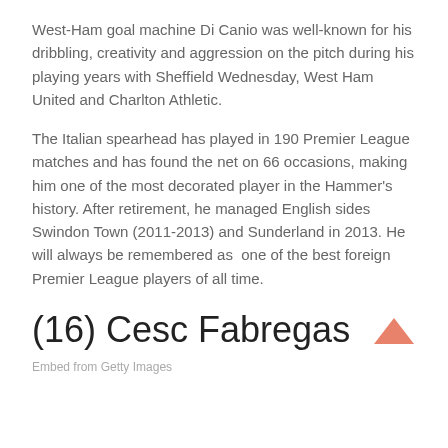West-Ham goal machine Di Canio was well-known for his dribbling, creativity and aggression on the pitch during his playing years with Sheffield Wednesday, West Ham United and Charlton Athletic.
The Italian spearhead has played in 190 Premier League matches and has found the net on 66 occasions, making him one of the most decorated player in the Hammer's history. After retirement, he managed English sides Swindon Town (2011-2013) and Sunderland in 2013. He will always be remembered as  one of the best foreign Premier League players of all time.
(16) Cesc Fabregas
Embed from Getty Images